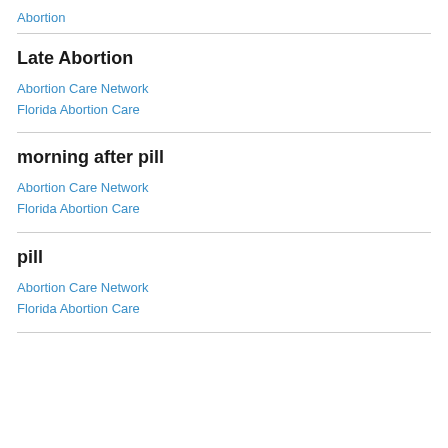Abortion
Late Abortion
Abortion Care Network
Florida Abortion Care
morning after pill
Abortion Care Network
Florida Abortion Care
pill
Abortion Care Network
Florida Abortion Care